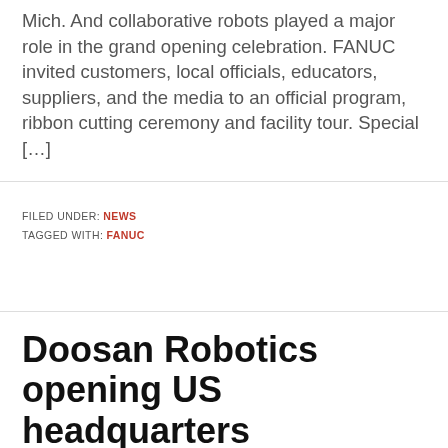Mich. And collaborative robots played a major role in the grand opening celebration. FANUC invited customers, local officials, educators, suppliers, and the media to an official program, ribbon cutting ceremony and facility tour. Special […]
FILED UNDER: NEWS TAGGED WITH: FANUC
Doosan Robotics opening US headquarters
OCTOBER 17, 2019 BY STEVE CROWE — LEAVE A COMMENT